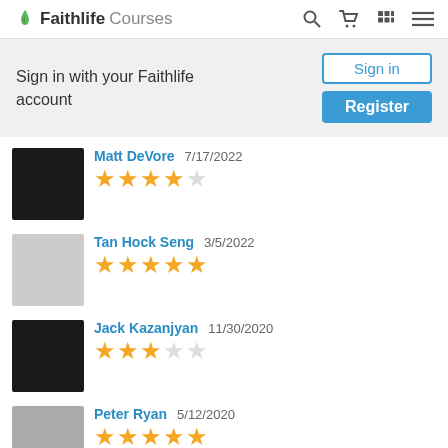Faithlife Courses
Sign in with your Faithlife account
Sign in | Register
Matt DeVore  7/17/2022  ★★★★☆
Tan Hock Seng  3/5/2022  ★★★★★
Jack Kazanjyan  11/30/2020  ★★★☆☆
Peter Ryan  5/12/2020  ★★★★★